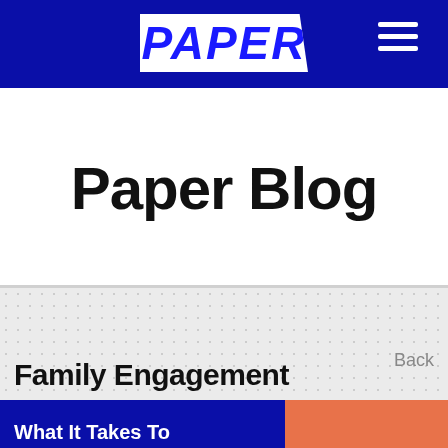PAPER
Paper Blog
Family Engagement
Back
What It Takes To